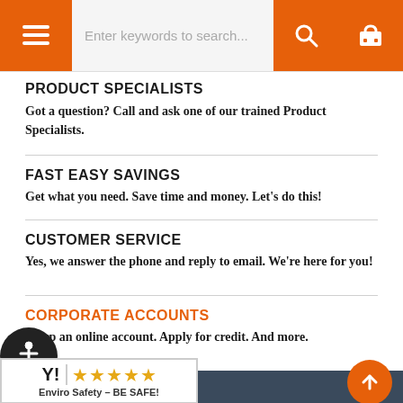Navigation bar with hamburger menu, search field 'Enter keywords to search...', search icon, and cart icon
PRODUCT SPECIALISTS
Got a question? Call and ask one of our trained Product Specialists.
FAST EASY SAVINGS
Get what you need. Save time and money. Let's do this!
CUSTOMER SERVICE
Yes, we answer the phone and reply to email. We're here for you!
CORPORATE ACCOUNTS
Setup an online account. Apply for credit. And more.
[Figure (logo): Enviro Safety 5-star rating badge: Y! logo with 5 orange stars and text 'Enviro Safety – BE SAFE!']
Dark blue footer bar